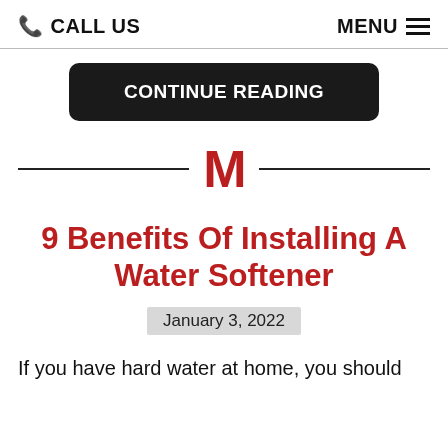CALL US  MENU
CONTINUE READING
[Figure (logo): Bold red capital letter M logo centered between two horizontal divider lines]
9 Benefits Of Installing A Water Softener
January 3, 2022
If you have hard water at home, you should